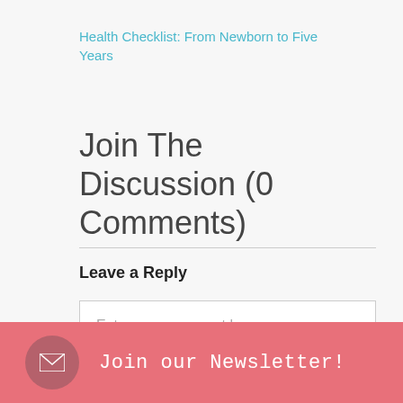Health Checklist: From Newborn to Five Years
Join The Discussion (0 Comments)
Leave a Reply
Enter your comment here...
Join our Newsletter!